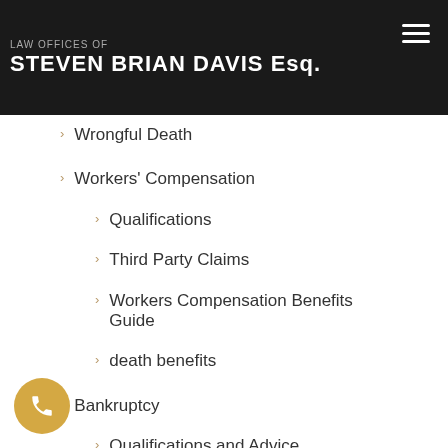LAW OFFICES OF STEVEN BRIAN DAVIS Esq.
Wrongful Death
Workers' Compensation
Qualifications
Third Party Claims
Workers Compensation Benefits Guide
death benefits
Bankruptcy
Qualifications and Advice
Chapter 7 Bankruptcy